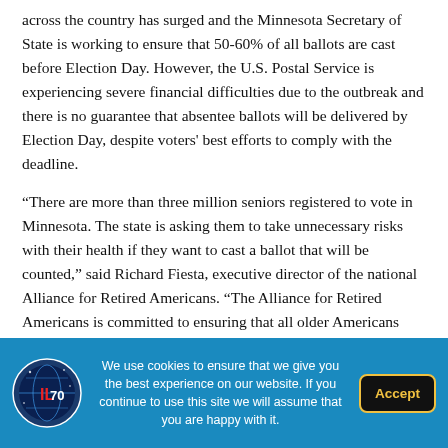across the country has surged and the Minnesota Secretary of State is working to ensure that 50-60% of all ballots are cast before Election Day. However, the U.S. Postal Service is experiencing severe financial difficulties due to the outbreak and there is no guarantee that absentee ballots will be delivered by Election Day, despite voters' best efforts to comply with the deadline.
“There are more than three million seniors registered to vote in Minnesota. The state is asking them to take unnecessary risks with their health if they want to cast a ballot that will be counted,” said Richard Fiesta, executive director of the national Alliance for Retired Americans. “The Alliance for Retired Americans is committed to ensuring that all older Americans nationwide can exercise their right to vote,
We use cookies to ensure that we give you the best experience on our website. If you continue to use this site we will assume that you are happy with it.